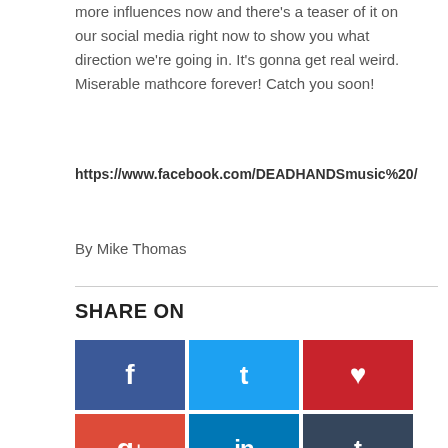more influences now and there's a teaser of it on our social media right now to show you what direction we're going in. It's gonna get real weird. Miserable mathcore forever! Catch you soon!
https://www.facebook.com/DEADHANDSmusic%20/
By Mike Thomas
SHARE ON
[Figure (infographic): Social media share buttons: Facebook (blue), Twitter (light blue), Pinterest (red), Google+ (orange-red), LinkedIn (blue), Tumblr (dark blue), Email (black)]